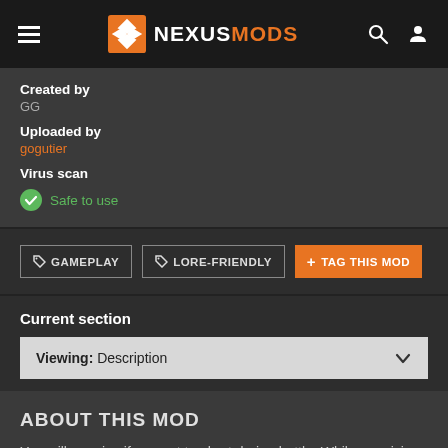NEXUSMODS
Created by
GG
Uploaded by
gogutier
Virus scan
Safe to use
GAMEPLAY
LORE-FRIENDLY
+ TAG THIS MOD
Current section
Viewing: Description
ABOUT THIS MOD
You will agonize if you get too hurt during battle. While agonizing, your most loyal allies will try to heal you and your